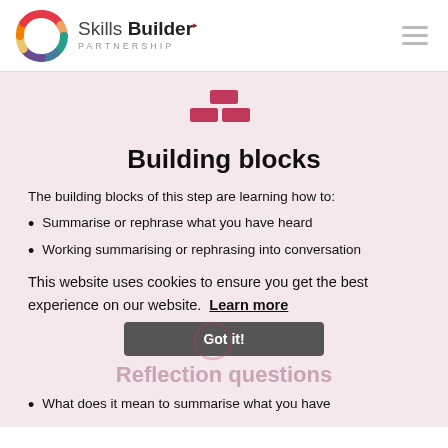[Figure (logo): Skills Builder Partnership logo — multicolored circular ring with segments in red, green, blue, yellow, and pink, next to brand text 'Skills Builder PARTNERSHIP']
[Figure (illustration): Pink/crimson building blocks icon — two bricks on bottom row and one centered on top]
Building blocks
The building blocks of this step are learning how to:
Summarise or rephrase what you have heard
Working summarising or rephrasing into conversation
This website uses cookies to ensure you get the best experience on our website.  Learn more
Got it!
Reflection questions
What does it mean to summarise what you have